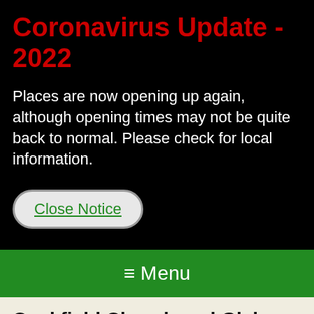Coronavirus Update - 2022
Places are now opening up again, although opening times may not be quite back to normal. Please check for local information.
Close Notice
≡ Menu
Cockfield Church and Glebe Garden
Return to Search Results ->